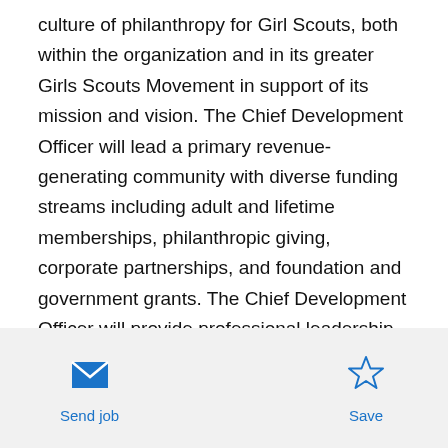culture of philanthropy for Girl Scouts, both within the organization and in its greater Girls Scouts Movement in support of its mission and vision. The Chief Development Officer will lead a primary revenue-generating community with diverse funding streams including adult and lifetime memberships, philanthropic giving, corporate partnerships, and foundation and government grants. The Chief Development Officer will provide professional leadership to staff and work closely with Council leaders, internal and external committees, advisory councils, donor societies, and member networks.
[Figure (illustration): Envelope icon (mail/send) in blue, with label 'Send job' below]
[Figure (illustration): Star outline icon in blue, with label 'Save' below]